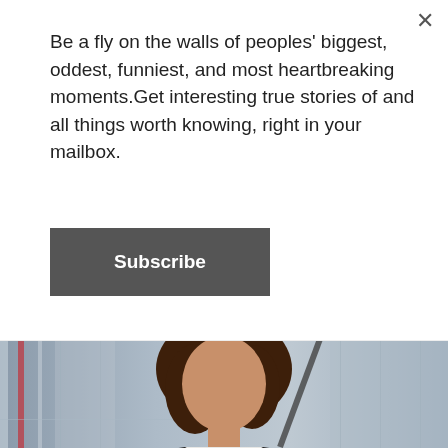Be a fly on the walls of peoples' biggest, oddest, funniest, and most heartbreaking moments.Get interesting true stories of and all things worth knowing, right in your mailbox.
Subscribe
[Figure (photo): A woman in a black blazer and white blouse standing in a blurred office/glass building background, posed professionally]
This Is How Much Lawyers Make In 2022 (See Their Salary).
Attorneys | Search Ads